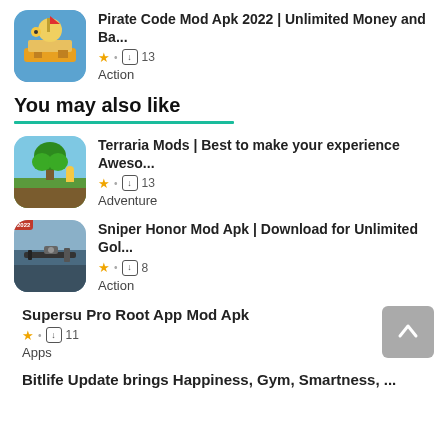Pirate Code Mod Apk 2022 | Unlimited Money and Ba...
★ • ⬇ 13
Action
You may also like
Terraria Mods | Best to make your experience Aweso...
★ • ⬇ 13
Adventure
Sniper Honor Mod Apk | Download for Unlimited Gol...
★ • ⬇ 8
Action
Supersu Pro Root App Mod Apk
★ • ⬇ 11
Apps
Bitlife Update brings Happiness, Gym, Smartness, ...